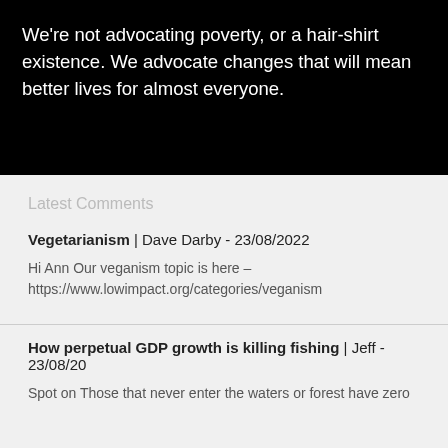We're not advocating poverty, or a hair-shirt existence. We advocate changes that will mean better lives for almost everyone.
Latest Comments
Vegetarianism | Dave Darby - 23/08/2022
Hi Ann Our veganism topic is here – https://www.lowimpact.org/categories/veganism
How perpetual GDP growth is killing fishing | Jeff - 23/08/20
Spot on Those that never enter the waters or forest have zero